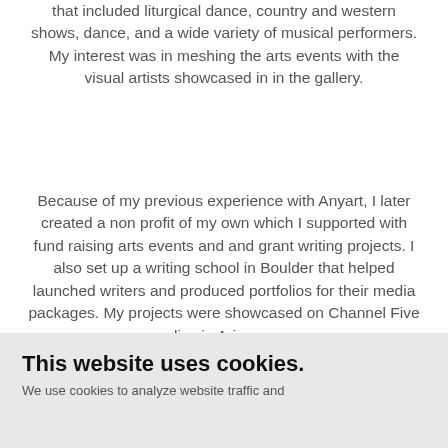that included liturgical dance, country and western shows, dance, and a wide variety of musical performers. My interest was in meshing the arts events with the visual artists showcased in in the gallery.
Because of my previous experience with Anyart, I later created a non profit of my own which I supported with fund raising arts events and and grant writing projects. I also set up a writing school in Boulder that helped launched writers and produced portfolios for their media packages. My projects were showcased on Channel Five live in Arizona.
Today, I am an artist who is engaged in writing and
This website uses cookies.
We use cookies to analyze website traffic and